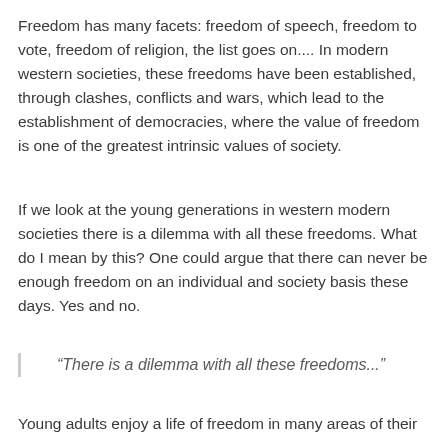Freedom has many facets: freedom of speech, freedom to vote, freedom of religion, the list goes on.... In modern western societies, these freedoms have been established, through clashes, conflicts and wars, which lead to the establishment of democracies, where the value of freedom is one of the greatest intrinsic values of society.
If we look at the young generations in western modern societies there is a dilemma with all these freedoms. What do I mean by this? One could argue that there can never be enough freedom on an individual and society basis these days. Yes and no.
“There is a dilemma with all these freedoms...”
Young adults enjoy a life of freedom in many areas of their